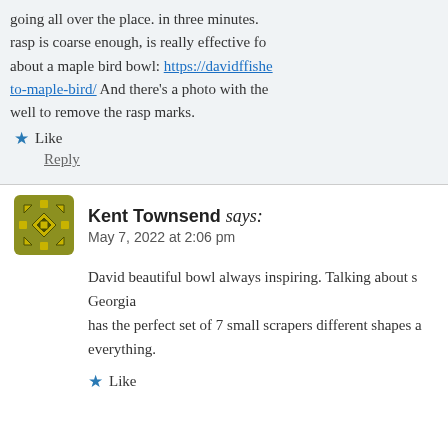going all over the place. in three minutes. A rasp is coarse enough, is really effective for about a maple bird bowl: https://davidffisher... to-maple-bird/ And there's a photo with the well to remove the rasp marks.
Like
Reply
Kent Townsend says:
May 7, 2022 at 2:06 pm
David beautiful bowl always inspiring. Talking about s Georgia has the perfect set of 7 small scrapers different shapes a everything.
Like